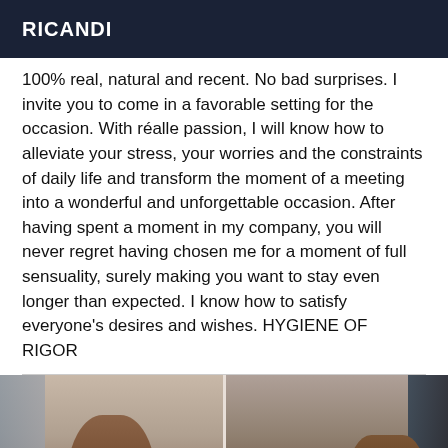RICANDI
100% real, natural and recent. No bad surprises. I invite you to come in a favorable setting for the occasion. With réalle passion, I will know how to alleviate your stress, your worries and the constraints of daily life and transform the moment of a meeting into a wonderful and unforgettable occasion. After having spent a moment in my company, you will never regret having chosen me for a moment of full sensuality, surely making you want to stay even longer than expected. I know how to satisfy everyone's desires and wishes. HYGIENE OF RIGOR
[Figure (photo): Two side-by-side photos showing a person with long brown hair viewed from the side, with curtains in the background.]